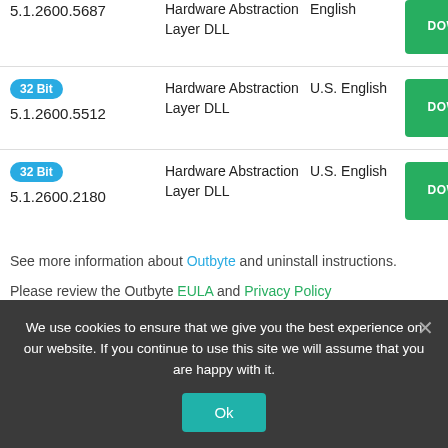| Version | Name | Language | Action |
| --- | --- | --- | --- |
| 5.1.2600.5687 | Hardware Abstraction Layer DLL | English | DOWNLOAD |
| 32Bit
5.1.2600.5512 | Hardware Abstraction Layer DLL | U.S. English | DOWNLOAD |
| 32Bit
5.1.2600.2180 | Hardware Abstraction Layer DLL | U.S. English | DOWNLOAD |
See more information about Outbyte and uninstall instructions.
Please review the Outbyte EULA and Privacy Policy
We use cookies to ensure that we give you the best experience on our website. If you continue to use this site we will assume that you are happy with it.